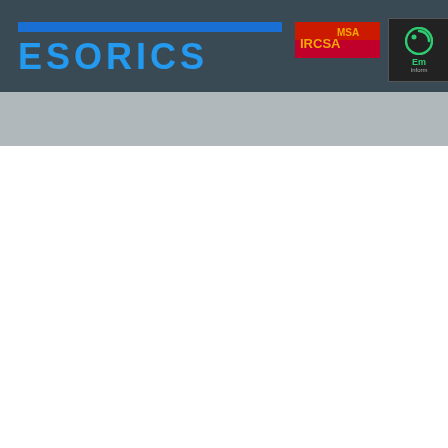[Figure (logo): ESORICS conference header banner with dark teal background, blue stripe, 'ESORICS' text in bold blue, a red/orange logo element, and a green circular 'Em' logo on dark background with 'Inform' text partially visible]
[Figure (illustration): Gray band below main header with blue horizontal lines in decreasing width, suggesting a decorative element]